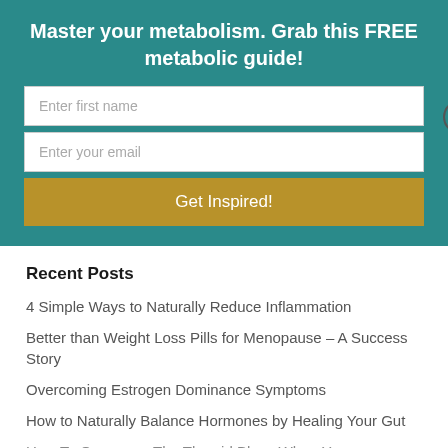Master your metabolism. Grab this FREE metabolic guide!
Enter first name
Enter your email
Get Inspired!
Recent Posts
4 Simple Ways to Naturally Reduce Inflammation
Better than Weight Loss Pills for Menopause – A Success Story
Overcoming Estrogen Dominance Symptoms
How to Naturally Balance Hormones by Healing Your Gut
How To Overcome The Thyroid Blues When You...